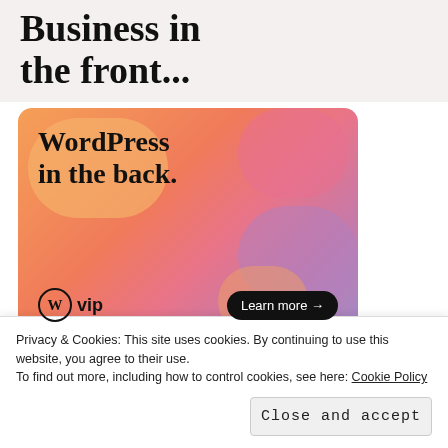Business in the front...
[Figure (advertisement): WordPress VIP advertisement banner with colorful gradient background featuring overlapping blobs in orange, pink, and purple. Text reads 'WordPress in the back.' with WordPress VIP logo and 'Learn more →' button.]
REPORT THIS AD
Share this:
[Figure (infographic): Row of social media sharing icons: Facebook (blue), Reddit (light gray), Email (gray), Pinterest (red), LinkedIn (blue), Twitter (light blue), Print (gray).]
Privacy & Cookies: This site uses cookies. By continuing to use this website, you agree to their use.
To find out more, including how to control cookies, see here: Cookie Policy
Close and accept